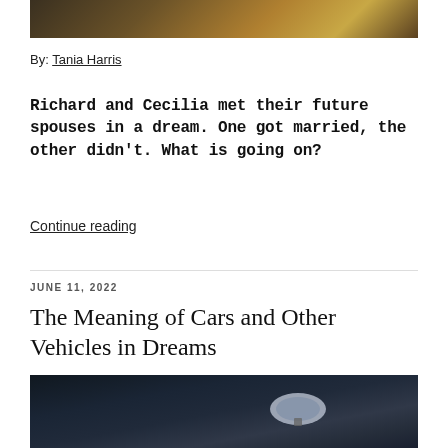[Figure (photo): Top portion of an outdoor photo showing a field with golden/brown grass, partially cropped]
By: Tania Harris
Richard and Cecilia met their future spouses in a dream. One got married, the other didn't. What is going on?
Continue reading
JUNE 11, 2022
The Meaning of Cars and Other Vehicles in Dreams
[Figure (photo): Dark atmospheric photo showing a car side mirror in dim lighting]